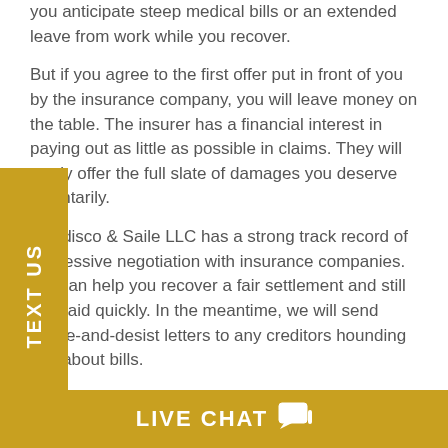you anticipate steep medical bills or an extended leave from work while you recover.
But if you agree to the first offer put in front of you by the insurance company, you will leave money on the table. The insurer has a financial interest in paying out as little as possible in claims. They will rarely offer the full slate of damages you deserve voluntarily.
Gaudisco & Saile LLC has a strong track record of aggressive negotiation with insurance companies. We can help you recover a fair settlement and still get paid quickly. In the meantime, we will send cease-and-desist letters to any creditors hounding you about bills.
[Figure (other): Gold vertical side tab with rotated white text reading TEXT US]
LIVE CHAT